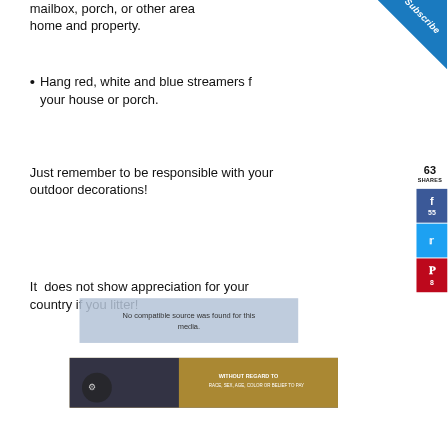mailbox, porch, or other areas around your home and property.
Hang red, white and blue streamers from your house or porch.
Just remember to be responsible with your outdoor decorations!
It  does not show appreciation for your country if you litter!
[Figure (screenshot): Social share sidebar with 63 SHARES count, Facebook button showing 55, Twitter button, Pinterest button showing 8]
[Figure (screenshot): Video player overlay showing 'No compatible source was found for this media.' with an advertisement banner below showing an airplane image]